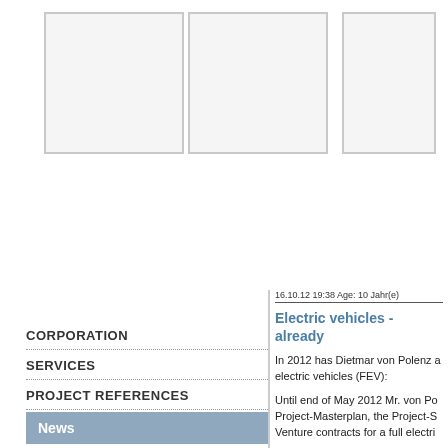[Figure (photo): Two empty image placeholder boxes side by side on the left]
[Figure (photo): One empty image placeholder box on the right, partially cropped]
CORPORATION
SERVICES
PROJECT REFERENCES
News
16.10.12 19:38 Age: 10 Jahr(e)
Electric vehicles - already
In 2012 has Dietmar von Polenz a electric vehicles (FEV):
Until end of May 2012 Mr. von Po Project-Masterplan, the Project-S Venture contracts for a full electri
From middle of June to end of Se